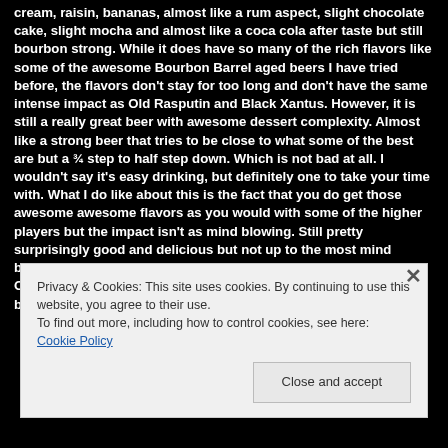cream, raisin, bananas, almost like a rum aspect, slight chocolate cake, slight mocha and almost like a coca cola after taste but still bourbon strong. While it does have so many of the rich flavors like some of the awesome Bourbon Barrel aged beers I have tried before, the flavors don't stay for too long and don't have the same intense impact as Old Rasputin and Black Xantus. However, it is still a really great beer with awesome dessert complexity. Almost like a strong beer that tries to be close to what some of the best are but a ¾ step to half step down. Which is not bad at all. I wouldn't say it's easy drinking, but definitely one to take your time with. What I do like about this is the fact that you do get those awesome awesome flavors as you would with some of the higher players but the impact isn't as mind blowing. Still pretty surprisingly good and delicious but not up to the most mind blowing, only ¾ mind blowing. If no Black Xantus or Barrel aged Old Rasputin is found, then go with this. Hell, if no other bourbon barrel aged beer is around, still get this.
Privacy & Cookies: This site uses cookies. By continuing to use this website, you agree to their use.
To find out more, including how to control cookies, see here: Cookie Policy